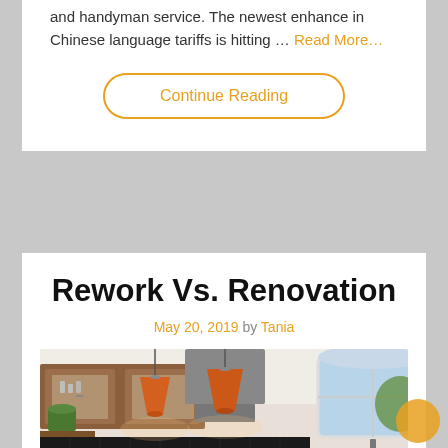and handyman service. The newest enhance in Chinese language tariffs is hitting … Read More…
Continue Reading
Rework Vs. Renovation
May 20, 2019 by Tania
[Figure (photo): Interior photo of a renovated kitchen with orange pendant lights, wooden cabinets, dark granite countertops, stainless steel range hood, and a large window.]